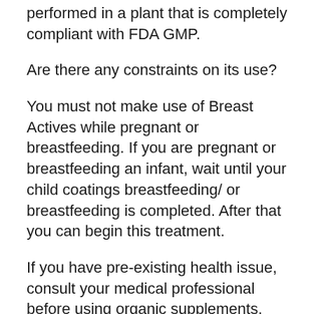performed in a plant that is completely compliant with FDA GMP.
Are there any constraints on its use?
You must not make use of Breast Actives while pregnant or breastfeeding. If you are pregnant or breastfeeding an infant, wait until your child coatings breastfeeding/ or breastfeeding is completed. After that you can begin this treatment.
If you have pre-existing health issue, consult your medical professional before using organic supplements.
Dosage